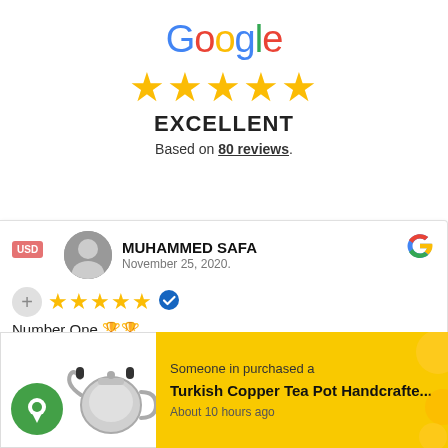[Figure (logo): Google logo with multicolored letters]
[Figure (other): Five gold star rating icons]
EXCELLENT
Based on 80 reviews.
MUHAMMED SAFA
November 25, 2020.
Number One 🏆🏆
Someone in purchased a
Turkish Copper Tea Pot Handcrafte...
About 10 hours ago